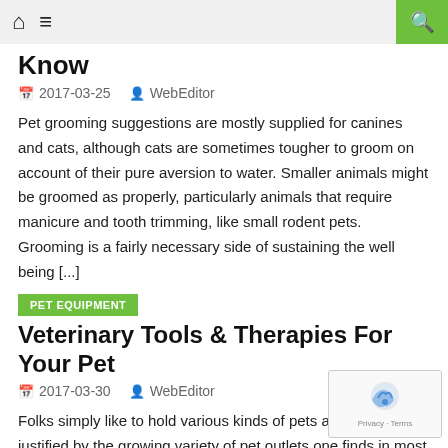Navigation bar with home, menu icons and search button
Know
2017-03-25   WebEditor
Pet grooming suggestions are mostly supplied for canines and cats, although cats are sometimes tougher to groom on account of their pure aversion to water. Smaller animals might be groomed as properly, particularly animals that require manicure and tooth trimming, like small rodent pets. Grooming is a fairly necessary side of sustaining the well being [...]
PET EQUIPMENT
Veterinary Tools & Therapies For Your Pet
2017-03-30   WebEditor
Folks simply like to hold various kinds of pets and this truth is justified by the growing variety of pet outlets one finds in most main ci... These outlets are additionally present in smaller cities these